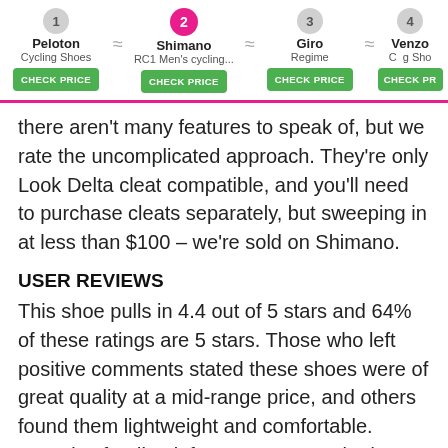[Figure (screenshot): Navigation bar showing 4 cycling shoe products: 1. Peloton Cycling Shoes, 2. Shimano RC1 Men's cycling... (active/highlighted), 3. Giro Regime, 4. Venzo Cycling Sho... Each has a CHECK PRICE green button. A next arrow is visible on the right.]
there aren't many features to speak of, but we rate the uncomplicated approach. They're only Look Delta cleat compatible, and you'll need to purchase cleats separately, but sweeping in at less than $100 – we're sold on Shimano.
USER REVIEWS
This shoe pulls in 4.4 out of 5 stars and 64% of these ratings are 5 stars. Those who left positive comments stated these shoes were of great quality at a mid-range price, and others found them lightweight and comfortable. Negative feedback from customers cited sizing issues.